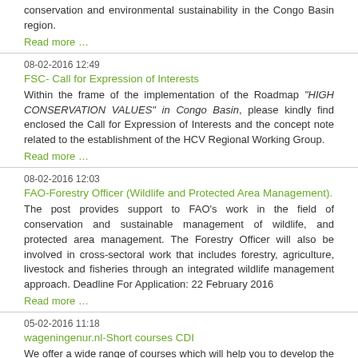conservation and environmental sustainability in the Congo Basin region.
Read more …
08-02-2016 12:49
FSC- Call for Expression of Interests
Within the frame of the implementation of the Roadmap "HIGH CONSERVATION VALUES" in Congo Basin, please kindly find enclosed the Call for Expression of Interests and the concept note related to the establishment of the HCV Regional Working Group.
Read more …
08-02-2016 12:03
FAO-Forestry Officer (Wildlife and Protected Area Management).
The post provides support to FAO's work in the field of conservation and sustainable management of wildlife, and protected area management. The Forestry Officer will also be involved in cross-sectoral work that includes forestry, agriculture, livestock and fisheries through an integrated wildlife management approach. Deadline For Application: 22 February 2016
Read more …
05-02-2016 11:18
wageningenur.nl-Short courses CDI
We offer a wide range of courses which will help you to develop the capacities, leadership qualities needed to be creative, adaptive and responsive to the dynamics of a rapidly changing world. In our courses we connect WUR's technical and scientific expertise with cutting-edge processes of innovation and learning.
Read more …
05-02-2016 10:50
worldforestry-The World Forest Institute International Fellowship